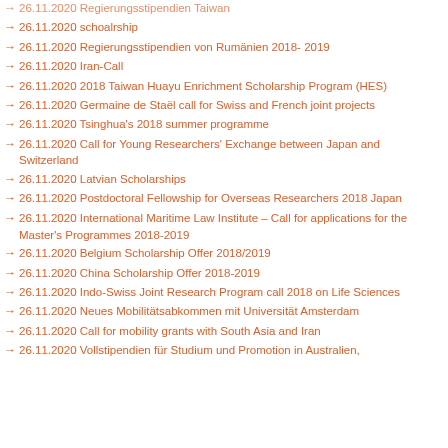26.11.2020 Regierungsstipendien Taiwan
26.11.2020 schoalrship
26.11.2020 Regierungsstipendien von Rumänien 2018- 2019
26.11.2020 Iran-Call
26.11.2020 2018 Taiwan Huayu Enrichment Scholarship Program (HES)
26.11.2020 Germaine de Staël call for Swiss and French joint projects
26.11.2020 Tsinghua's 2018 summer programme
26.11.2020 Call for Young Researchers' Exchange between Japan and Switzerland
26.11.2020 Latvian Scholarships
26.11.2020 Postdoctoral Fellowship for Overseas Researchers 2018 Japan
26.11.2020 International Maritime Law Institute – Call for applications for the Master's Programmes 2018-2019
26.11.2020 Belgium Scholarship Offer 2018/2019
26.11.2020 China Scholarship Offer 2018-2019
26.11.2020 Indo-Swiss Joint Research Program call 2018 on Life Sciences
26.11.2020 Neues Mobilitätsabkommen mit Universität Amsterdam
26.11.2020 Call for mobility grants with South Asia and Iran
26.11.2020 Vollstipendien für Studium und Promotion in Australien,